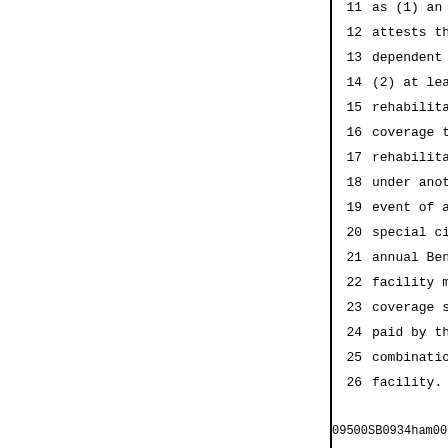11   as (1) an appropriate official
12   attests that each employee not
13   dependent under this plan or an
14   (2) at least 85% of the employe
15   rehabilitation facility remits
16   coverage to those employees. Em
17   rehabilitation facility who are
18   under another group health poli
19   event of a qualifying change in
20   special circumstance as defined
21   annual Benefit Choice Period. A
22   facility may also elect to cove
23   coverage shall be offered on an
24   paid by the rehabilitation faci
25   combination of the 2 as determi
26   facility. The rehabilitation fa
09500SB0934ham001          - 16